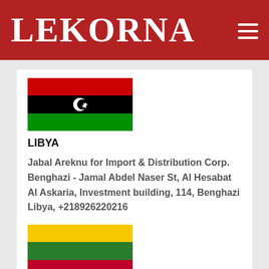LEKORNA
[Figure (illustration): Flag of Libya: black stripe on top, white crescent and star in center on black, green stripe on bottom]
LIBYA
Jabal Areknu for Import & Distribution Corp. Benghazi - Jamal Abdel Naser St, Al Hesabat Al Askaria, Investment building, 114, Benghazi Libya, +218926220216
[Figure (illustration): Flag of Lithuania: yellow stripe on top, green stripe in middle, red stripe on bottom]